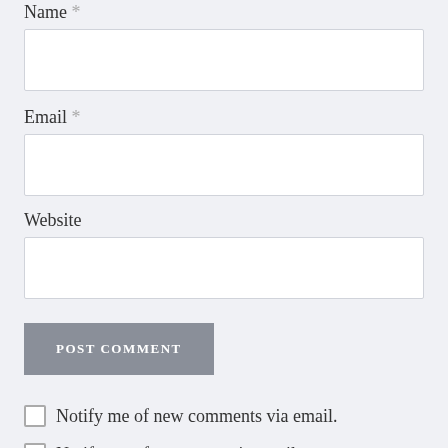Name *
[Figure (other): Text input field for Name]
Email *
[Figure (other): Text input field for Email]
Website
[Figure (other): Text input field for Website]
[Figure (other): POST COMMENT submit button]
Notify me of new comments via email.
Notify me of new posts via email.